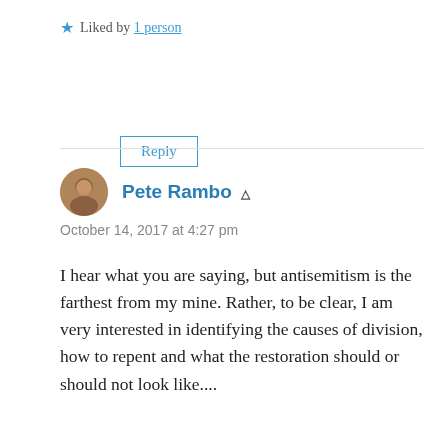★ Liked by 1 person
Reply
Pete Rambo
October 14, 2017 at 4:27 pm
I hear what you are saying, but antisemitism is the farthest from my mine. Rather, to be clear, I am very interested in identifying the causes of division, how to repent and what the restoration should or should not look like....